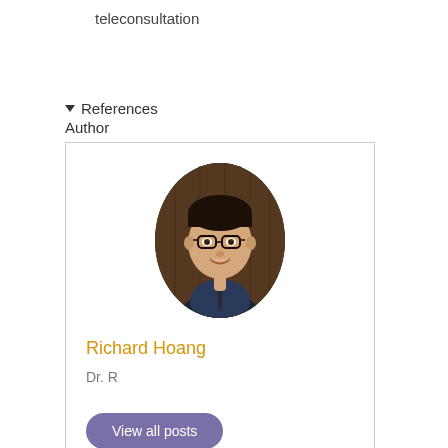teleconsultation
▼ References
Author
[Figure (photo): Oval portrait photo of Richard Hoang, a young man wearing glasses, a dark suit jacket and tie, smiling]
Richard Hoang
Dr. R
View all posts